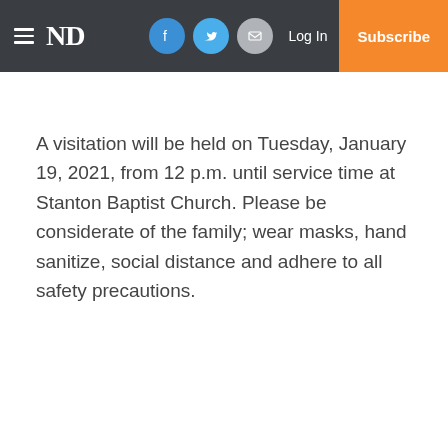ND | Log In | Subscribe
A visitation will be held on Tuesday, January 19, 2021, from 12 p.m. until service time at Stanton Baptist Church. Please be considerate of the family; wear masks, hand sanitize, social distance and adhere to all safety precautions.